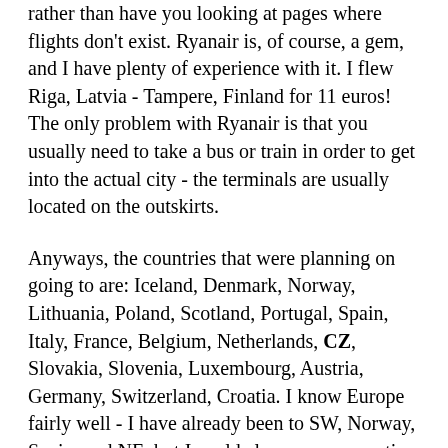rather than have you looking at pages where flights don't exist. Ryanair is, of course, a gem, and I have plenty of experience with it. I flew Riga, Latvia - Tampere, Finland for 11 euros! The only problem with Ryanair is that you usually need to take a bus or train in order to get into the actual city - the terminals are usually located on the outskirts.
Anyways, the countries that were planning on going to are: Iceland, Denmark, Norway, Lithuania, Poland, Scotland, Portugal, Spain, Italy, France, Belgium, Netherlands, CZ, Slovakia, Slovenia, Luxembourg, Austria, Germany, Switzerland, Croatia. I know Europe fairly well - I have already been to SW, Norway, Spain, and NE, but I could always use some tips. I have found cheap flights for more or less all of my connections.
One question that I did have tho is: Is it better to book all your flights/train tickets in advance and adhere to a strict plan, or is it better just to kind of wing it. I know that winging it would give you the freedom to stay as little or as long as you like in certain regions, but I know that